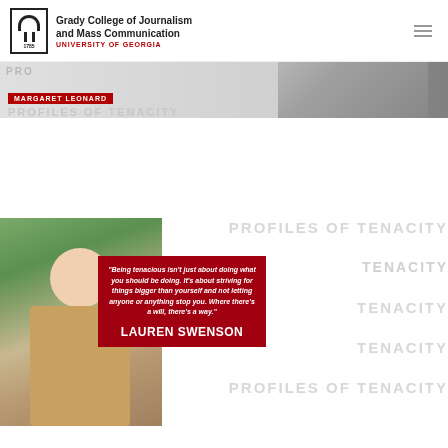[Figure (logo): Grady College of Journalism and Mass Communication, University of Georgia logo with arch icon]
Grady College of Journalism and Mass Communication
UNIVERSITY OF GEORGIA
[Figure (photo): Top banner with person in blazer, red bar with text overlay, PROFILES OF TENACITY watermark text]
[Figure (photo): Profile photo of Lauren Swenson, young woman with brown hair, smiling, outdoors]
"Being tenacious isn't just about doing what you should be doing. It's about striving for things bigger than yourself and not letting anyone or anything stop you. Where there's a will, there's a way."
LAUREN SWENSON